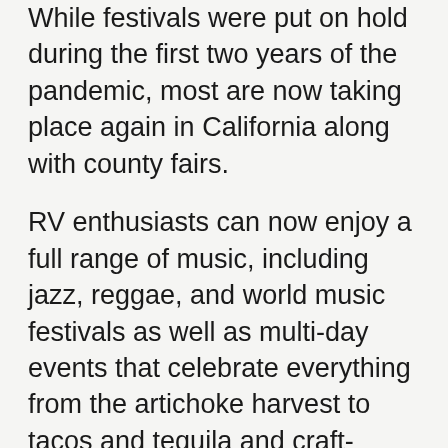While festivals were put on hold during the first two years of the pandemic, most are now taking place again in California along with county fairs.
RV enthusiasts can now enjoy a full range of music, including jazz, reggae, and world music festivals as well as multi-day events that celebrate everything from the artichoke harvest to tacos and tequila and craft-brewed beers. Some wineries and county fairs even host grape stomping competitions in the fall to celebrate the annual grape harvest.
Here's a sampling of some of the upcoming